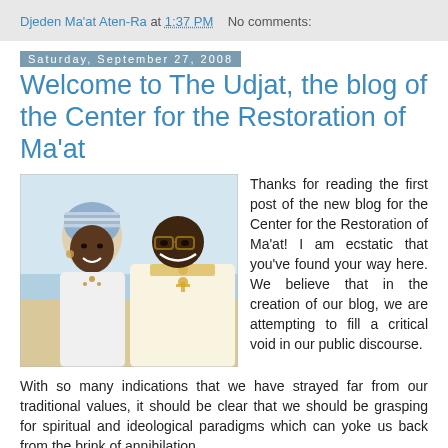Djeden Ma'at Aten-Ra at 1:37 PM   No comments:
Saturday, September 27, 2008
Welcome to The Udjat, the blog of the Center for the Restoration of Ma'at
[Figure (photo): Two people smiling together outdoors near a beach. A woman on the left wearing a blue and white striped head wrap and white attire with jewelry; a man on the right wearing glasses and a white/gold embroidered top.]
Thanks for reading the first post of the new blog for the Center for the Restoration of Ma'at! I am ecstatic that you've found your way here. We believe that in the creation of our blog, we are attempting to fill a critical void in our public discourse.
With so many indications that we have strayed far from our traditional values, it should be clear that we should be grasping for spiritual and ideological paradigms which can yoke us back from the brink of annihilation.